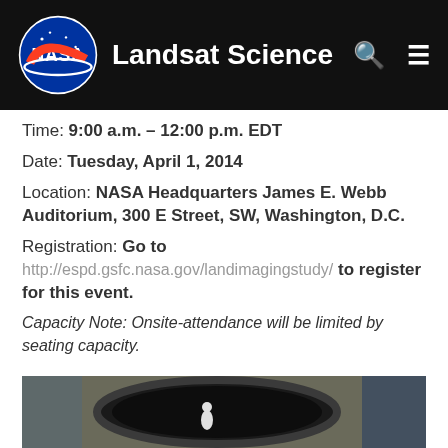NASA Landsat Science
Time: 9:00 a.m. – 12:00 p.m. EDT
Date: Tuesday, April 1, 2014
Location: NASA Headquarters James E. Webb Auditorium, 300 E Street, SW, Washington, D.C.
Registration: Go to http://espd.gsfc.nasa.gov/landimagingstudy/ to register for this event.
Capacity Note: Onsite-attendance will be limited by seating capacity.
[Figure (photo): Photo of large circular/oval opening of what appears to be a satellite or spacecraft component, with a person in white protective suit visible inside.]